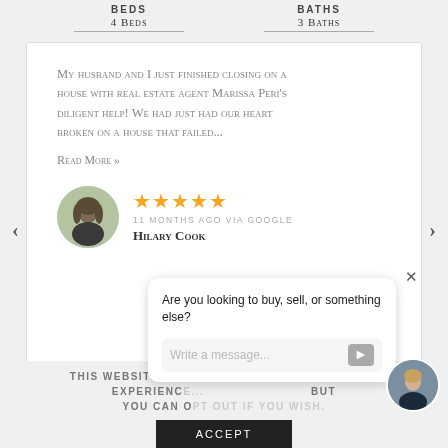BEDS
4 Beds
BATHS
3 Baths
My husband and I just finished closing on a house with real estate agent Marissa Peri's diligent help! We had just had our heart broken on a house that failed...
Read More »
[Figure (photo): Circular profile photo of reviewer Hilary Cook]
11 MONTHS AGO VIA GOOGLE
Hilary Cook
Are you looking to buy, sell, or something else?
Write a message...
THIS WEBSITE USES COOKIES TO IMPROVE YOUR EXPERIENCE... BUT YOU CAN O...
ACCEPT
[Figure (photo): Circular photo of real estate agent, bottom right corner]